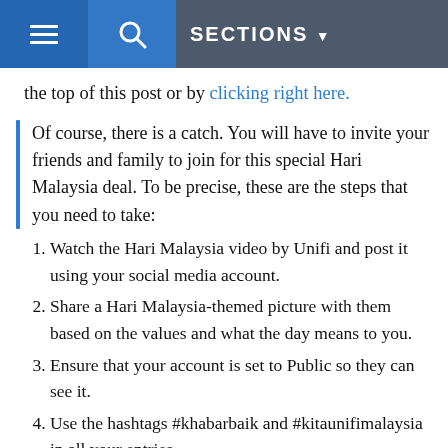SECTIONS
the top of this post or by clicking right here.
Of course, there is a catch. You will have to invite your friends and family to join for this special Hari Malaysia deal. To be precise, these are the steps that you need to take:
1. Watch the Hari Malaysia video by Unifi and post it using your social media account.
2. Share a Hari Malaysia-themed picture with them based on the values and what the day means to you.
3. Ensure that your account is set to Public so they can see it.
4. Use the hashtags #khabarbaik and #kitaunifimalaysia in all your entries.
[Figure (screenshot): Video thumbnail showing unifi - Iklan Hari Malaysia 2019 #Kitu with orange unifi logo on dark background]